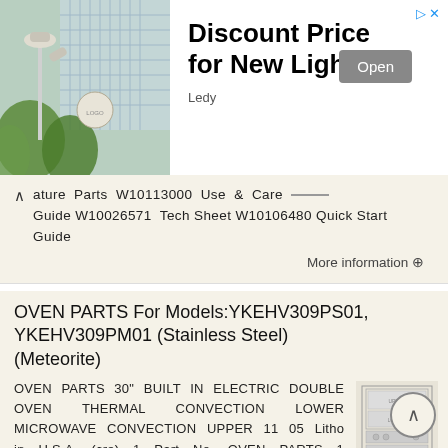[Figure (photo): Advertisement banner with photo of outdoor lighting fixtures on a building, green trees in background. Text: 'Discount Price for New Light', sponsor: 'Ledy', button: 'Open']
ature Parts W10113000 Use & Care Guide W10026571 Tech Sheet W10106480 Quick Start Guide
More information →
OVEN PARTS For Models:YKEHV309PS01, YKEHV309PM01 (Stainless Steel) (Meteorite)
OVEN PARTS 30" BUILT IN ELECTRIC DOUBLE OVEN THERMAL CONVECTION LOWER MICROWAVE CONVECTION UPPER 11 05 Litho in U.S.A. (cre) 1 Part No. OVEN PARTS 1 Literature Parts 8300650 Installation Instructions 8304065